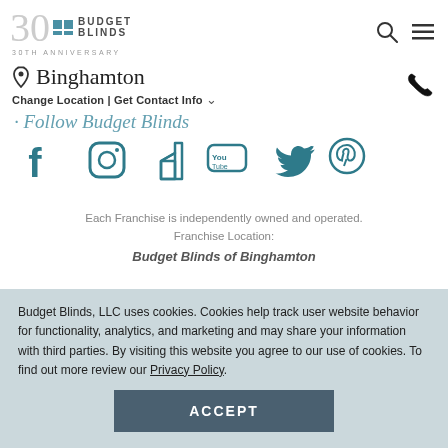[Figure (logo): Budget Blinds 30th Anniversary logo with teal squares and gray text]
Binghamton
Change Location | Get Contact Info
Follow Budget Blinds
[Figure (infographic): Social media icons: Facebook, Instagram, Houzz, YouTube, Twitter, Pinterest in teal]
Each Franchise is independently owned and operated. Franchise Location:
Budget Blinds of Binghamton
Budget Blinds, LLC uses cookies. Cookies help track user website behavior for functionality, analytics, and marketing and may share your information with third parties. By visiting this website you agree to our use of cookies. To find out more review our Privacy Policy.